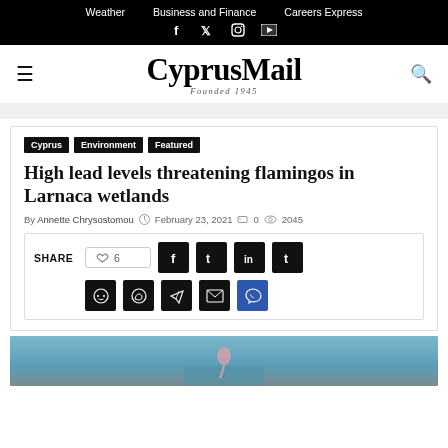Weather  Business and Finance  Careers Express
CyprusMail Founded 1945
Cyprus  Environment  Featured
High lead levels threatening flamingos in Larnaca wetlands
By Annette Chrysostomou  February 23, 2021  0  2045
[Figure (screenshot): Social share widget with SHARE label, like button showing 6 likes, and social media icon buttons for Facebook, Twitter, LinkedIn, Tumblr, Reddit, WhatsApp, Telegram, Email, Viber]
[Figure (photo): Partial view of a photo at the bottom of the page, appears to show a flamingo or bird in water]